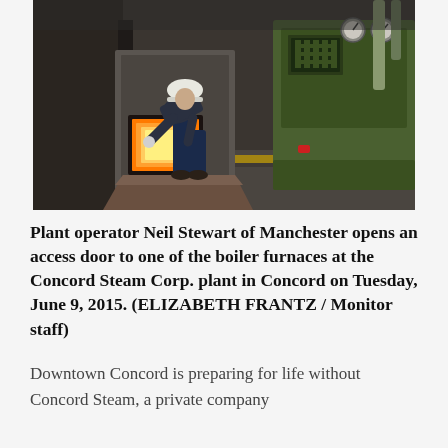[Figure (photo): A plant operator wearing a hard hat and work clothes bends over to open an access door on a boiler furnace glowing orange inside, with large green industrial machinery in the background, inside an industrial facility.]
Plant operator Neil Stewart of Manchester opens an access door to one of the boiler furnaces at the Concord Steam Corp. plant in Concord on Tuesday, June 9, 2015. (ELIZABETH FRANTZ / Monitor staff)
Downtown Concord is preparing for life without Concord Steam, a private company